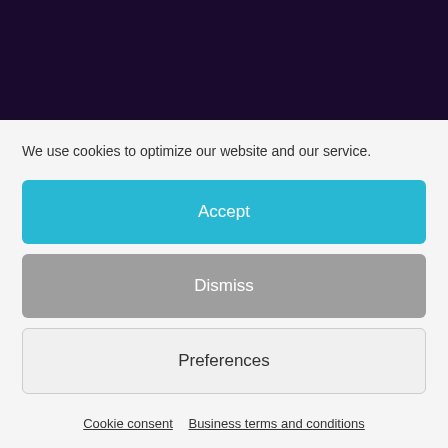[Figure (other): Dark purple/navy banner background at top of page]
We use cookies to optimize our website and our service.
Accept
Dismiss
Preferences
Cookie consent   Business terms and conditions